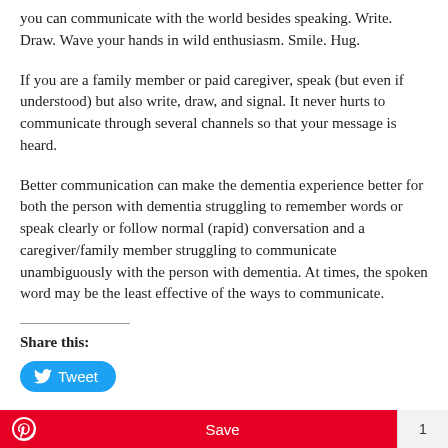you can communicate with the world besides speaking. Write. Draw. Wave your hands in wild enthusiasm. Smile. Hug.
If you are a family member or paid caregiver, speak (but even if understood) but also write, draw, and signal. It never hurts to communicate through several channels so that your message is heard.
Better communication can make the dementia experience better for both the person with dementia struggling to remember words or speak clearly or follow normal (rapid) conversation and a caregiver/family member struggling to communicate unambiguously with the person with dementia. At times, the spoken word may be the least effective of the ways to communicate.
Share this:
[Figure (other): Tweet button with Twitter bird icon in blue rounded rectangle]
[Figure (other): Pinterest Save bar with red background, Pinterest logo, Save text, and count of 1]